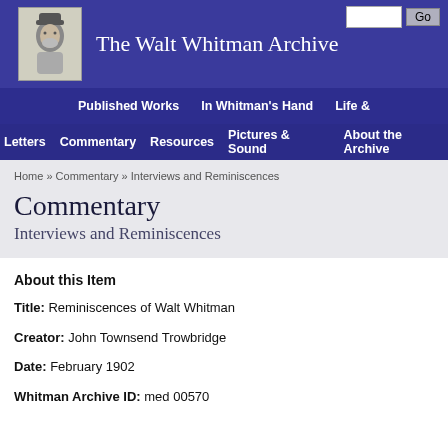The Walt Whitman Archive
Published Works | In Whitman's Hand | Life & Letters | Commentary | Resources | Pictures & Sound | About the Archive
Home » Commentary » Interviews and Reminiscences
Commentary
Interviews and Reminiscences
About this Item
Title: Reminiscences of Walt Whitman
Creator: John Townsend Trowbridge
Date: February 1902
Whitman Archive ID: med 00570